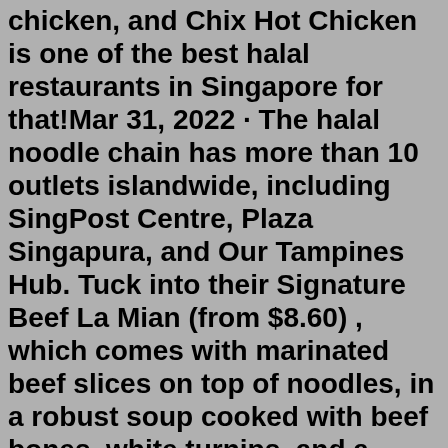chicken, and Chix Hot Chicken is one of the best halal restaurants in Singapore for that!Mar 31, 2022 · The halal noodle chain has more than 10 outlets islandwide, including SingPost Centre, Plaza Singapura, and Our Tampines Hub. Tuck into their Signature Beef La Mian (from $8.60) , which comes with marinated beef slices on top of noodles, in a robust soup cooked with beef bones, white turnips, and a secret blend of traditional Chinese spices. From Thai hot pot to hotel buffets, here are 21 halal restaurants for you to check out for your next special occasion. 1. The Dim Sum Place. If your partner or family enjoys having a variety of food options, head down to The Dim Sum Place. This is not your run-of-the-mill dim sum restaurant, as The Dim Sum Place sells innovative and unique ...How to find halal buffet near me Open Google Maps on your computer or APP, just type an address or name of a place . Then press 'Enter' or Click 'Search', you'll see search results as red mini-pins or red dots where mini-pins show the top search results for you. About halal